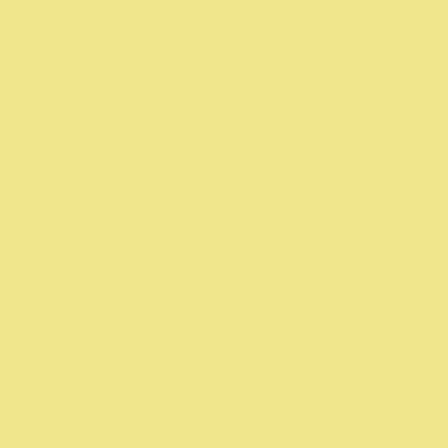so Leica it is even though I hardly ev… rangefinders I have.
Posted by: Terry Letton | Wednesday, 18 December 20…
I'll take the Sony
Posted by: Warren Jones | Wednesday, 18 December 2…
The A7/Zeiss. Never been interested… Veblen goods.
Posted by: Ruby | Wednesday, 18 December 2013 at 02…
I'd choose the Leica so that I could u…
Posted by: Steve J | Wednesday, 18 December 2013 at…
Leica M-
As I get older, I find myself enjoying… viewfinder almost as much as lookin…